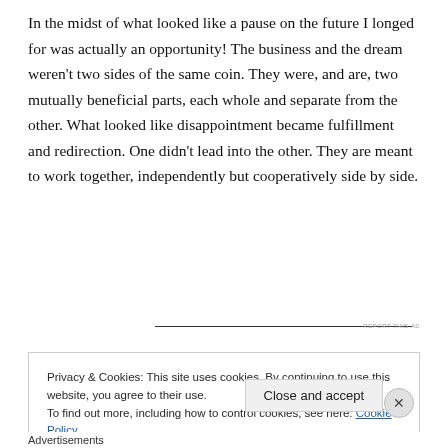In the midst of what looked like a pause on the future I longed for was actually an opportunity! The business and the dream weren't two sides of the same coin. They were, and are, two mutually beneficial parts, each whole and separate from the other. What looked like disappointment became fulfillment and redirection. One didn't lead into the other. They are meant to work together, independently but cooperatively side by side.
REPORT THIS AD
Privacy & Cookies: This site uses cookies. By continuing to use this website, you agree to their use.
To find out more, including how to control cookies, see here: Cookie Policy
Close and accept
Advertisements